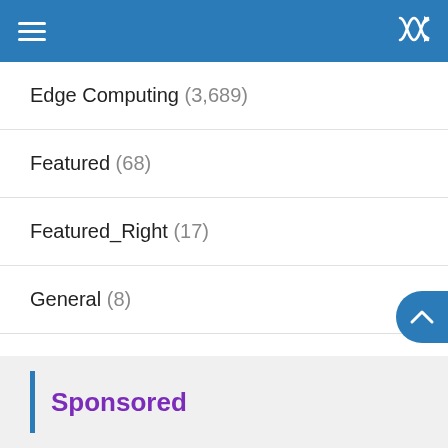Navigation menu header with hamburger and shuffle icons
Edge Computing (3,689)
Featured (68)
Featured_Right (17)
General (8)
Internet Of Things (3,205)
Recent (4)
Security (681)
Trending (10)
Sponsored